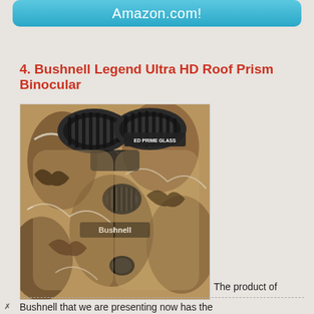Amazon.com!
4. Bushnell Legend Ultra HD Roof Prism Binocular
[Figure (photo): Bushnell Legend Ultra HD Roof Prism Binocular in camouflage pattern. The binocular features ED PRIME GLASS labeling and Bushnell branding on the body.]
The product of Bushnell that we are presenting now has the